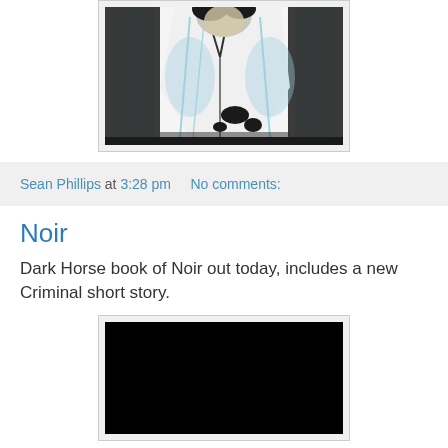[Figure (illustration): Partial comic book illustration showing a figure in white robes or coat with blue shading, black ink style artwork, visible behind a dark frame/border. Bottom portion of a comic panel.]
Sean Phillips at 3:28 pm   No comments:
Noir
Dark Horse book of Noir out today, includes a new Criminal short story.
[Figure (illustration): Comic book cover or interior art panel showing predominantly black image, top portion of a dark/noir style illustration.]